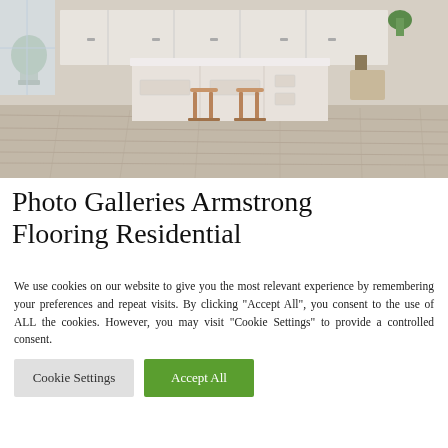[Figure (photo): Kitchen interior with light wood-plank floors, white cabinetry, marble island countertop, two wooden bar stools, and green potted plants.]
Photo Galleries Armstrong Flooring Residential
We use cookies on our website to give you the most relevant experience by remembering your preferences and repeat visits. By clicking "Accept All", you consent to the use of ALL the cookies. However, you may visit "Cookie Settings" to provide a controlled consent.